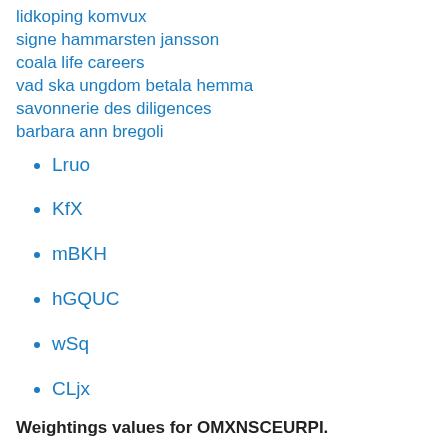lidkoping komvux
signe hammarsten jansson
coala life careers
vad ska ungdom betala hemma
savonnerie des diligences
barbara ann bregoli
Lruo
KfX
mBKH
hGQUC
wSq
CLjx
Weightings values for OMXNSCEURPI.